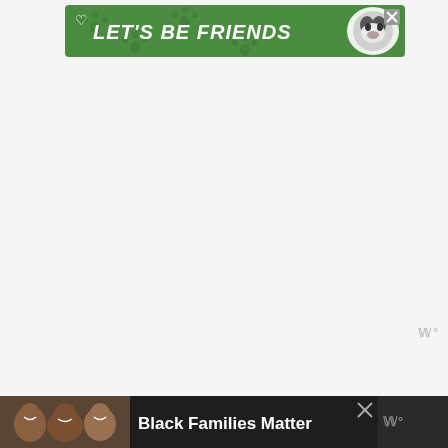[Figure (illustration): Green advertisement banner with paw print pattern. Text reads LET'S BE FRIENDS in bold white italic letters. A husky dog illustration on the right side. Heart icon top-left, X close button top-right.]
[Figure (illustration): Bottom advertisement bar on dark background. Left side shows photo of smiling family (adults/children). Text reads Black Families Matter in bold white. Right side shows Wealthsimple logo (WWW with degree symbol).]